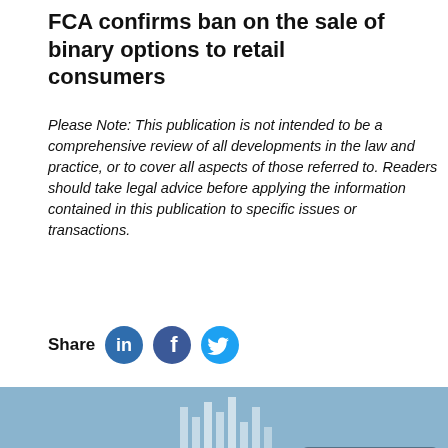FCA confirms ban on the sale of binary options to retail consumers
Please Note: This publication is not intended to be a comprehensive review of all developments in the law and practice, or to cover all aspects of those referred to. Readers should take legal advice before applying the information contained in this publication to specific issues or transactions.
[Figure (infographic): Share icons row: LinkedIn (blue circle with 'in'), Facebook (blue circle with 'f'), Twitter (blue circle with bird icon)]
[Figure (photo): Photo of a person writing on paper with a pen, another person pointing at a tablet device in the background, with a blue-tinted financial chart overlay and Met Facilities logo at the bottom]